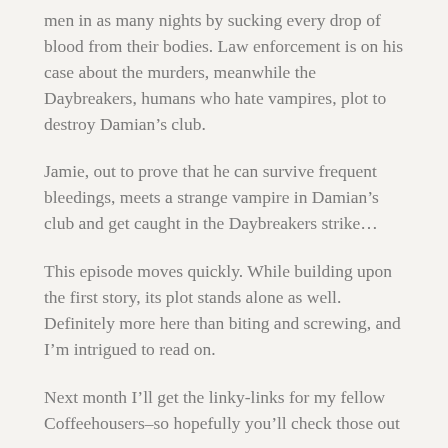men in as many nights by sucking every drop of blood from their bodies. Law enforcement is on his case about the murders, meanwhile the Daybreakers, humans who hate vampires, plot to destroy Damian’s club.
Jamie, out to prove that he can survive frequent bleedings, meets a strange vampire in Damian’s club and get caught in the Daybreakers strike…
This episode moves quickly. While building upon the first story, its plot stands alone as well. Definitely more here than biting and screwing, and I’m intrigued to read on.
Next month I’ll get the linky-links for my fellow Coffeehousers–so hopefully you’ll check those out